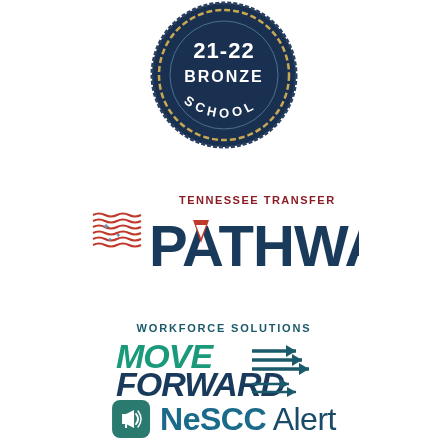[Figure (logo): 21-22 Bronze School badge/seal - circular dark navy badge with text '21-22 BRONZE SCHOOL']
[Figure (logo): Tennessee Transfer PATHWAY logo - red and blue logo with horizontal wave lines and stars on left, large navy 'PATHWAY' text]
[Figure (logo): Workforce Solutions MOVE FORWARD logo - green italic text 'MOVE FORWARD' with arrow lines pointing right, 'WORKFORCE SOLUTIONS' text above]
[Figure (logo): NeSCC Alert logo - teal rounded square icon with megaphone symbol, followed by 'NeSCC Alert' text in navy/dark teal]